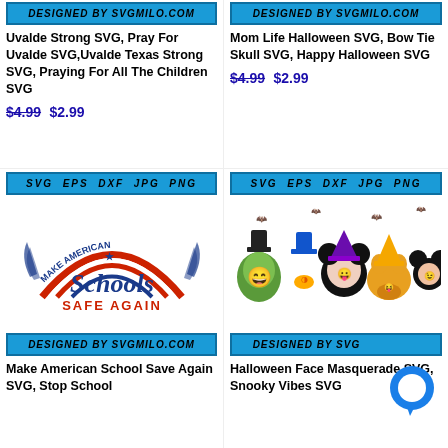[Figure (illustration): DESIGNED BY SVGMILO.COM banner - top left product]
Uvalde Strong SVG, Pray For Uvalde SVG,Uvalde Texas Strong SVG, Praying For All The Children SVG
$4.99 $2.99
[Figure (illustration): DESIGNED BY SVGMILO.COM banner - top right product]
Mom Life Halloween SVG, Bow Tie Skull SVG, Happy Halloween SVG
$4.99 $2.99
[Figure (illustration): SVG EPS DXF JPG PNG badge and Make American Schools Safe Again graphic illustration]
[Figure (illustration): DESIGNED BY SVGMILO.COM banner - bottom left]
Make American School Save Again SVG, Stop School
[Figure (illustration): SVG EPS DXF JPG PNG badge and Halloween Face Masquerade Disney characters illustration]
[Figure (illustration): DESIGNED BY SVG... banner - bottom right (partially obscured by chat bubble)]
Halloween Face Masquerade SVG, Snooky Vibes SVG